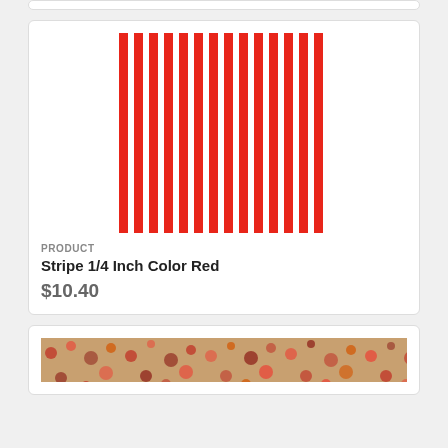[Figure (illustration): Red and white vertical stripes fabric pattern swatch]
PRODUCT
Stripe 1/4 Inch Color Red
$10.40
[Figure (photo): Red floral pattern fabric swatch at bottom of page]